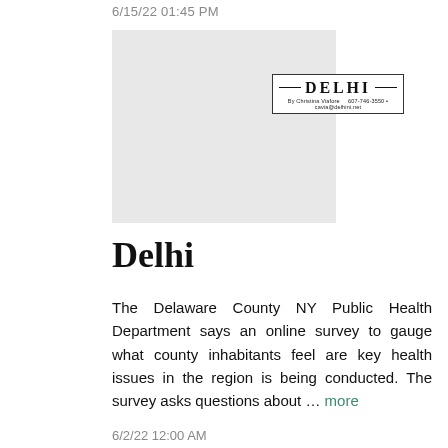6/15/22 01:45 PM
[Figure (other): Delhi newspaper section header with decorative lines, title DELHI, byline: By Christina Viafore  607-746-3550 • cavia@delhini.net]
Delhi
The Delaware County NY Public Health Department says an online survey to gauge what county inhabitants feel are key health issues in the region is being conducted. The survey asks questions about … more
6/2/22 12:00 AM